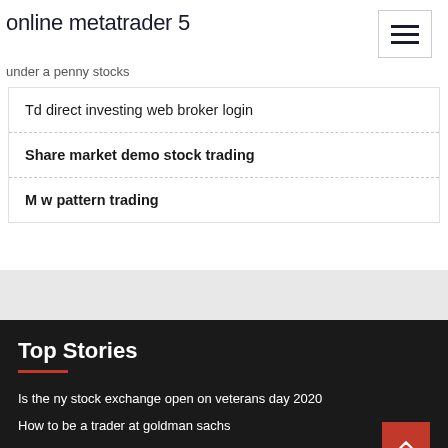online metatrader 5
under a penny stocks
Td direct investing web broker login
Share market demo stock trading
M w pattern trading
Top Stories
Is the ny stock exchange open on veterans day 2020
How to be a trader at goldman sachs